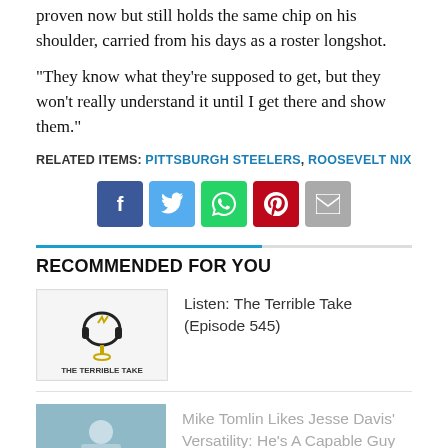proven now but still holds the same chip on his shoulder, carried from his days as a roster longshot.
“They know what they’re supposed to get, but they won’t really understand it until I get there and show them.”
RELATED ITEMS: PITTSBURGH STEELERS, ROOSEVELT NIX
[Figure (infographic): Social sharing buttons: Facebook (blue), Twitter (light blue), WhatsApp (green), Pinterest (red), Email (grey)]
RECOMMENDED FOR YOU
[Figure (logo): The Terrible Take podcast logo with headphones icon]
Listen: The Terrible Take (Episode 545)
[Figure (photo): Thumbnail image for Mike Tomlin article]
Mike Tomlin Likes Jesse Davis' Versatility: He's A Capable Guy